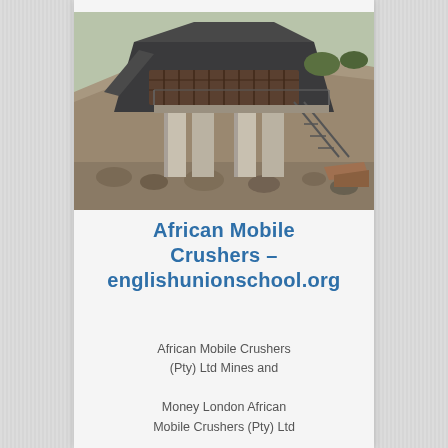[Figure (photo): Photograph of a large industrial stone crusher / mining processing plant structure mounted on concrete pillars at a quarry site, with rocky terrain and hillside in the background.]
African Mobile Crushers – englishunionschool.org
African Mobile Crushers (Pty) Ltd Mines and Money London African Mobile Crushers (Pty) Ltd